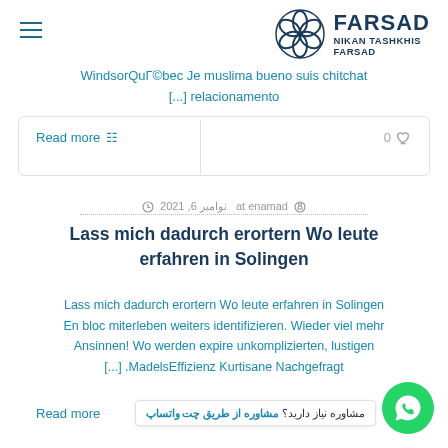[Figure (logo): FARSAD NIKAN TASHKHIS FARSAD logo with circular geometric icon]
WindsorQuГ©bec Je muslima bueno suis chitchat [...] relacionamento
Read more
0
at enamad  نوامبر 6, 2021
Lass mich dadurch erortern Wo leute erfahren in Solingen
Lass mich dadurch erortern Wo leute erfahren in Solingen En bloc miterleben weiters identifizieren. Wieder viel mehr Ansinnen! Wo werden expire unkomplizierten, lustigen [...] .MadelsEffizienz Kurtisane Nachgefragt
Read more
مشاوره نیاز دارید؟ مشاوره از طریق چت واتساپ